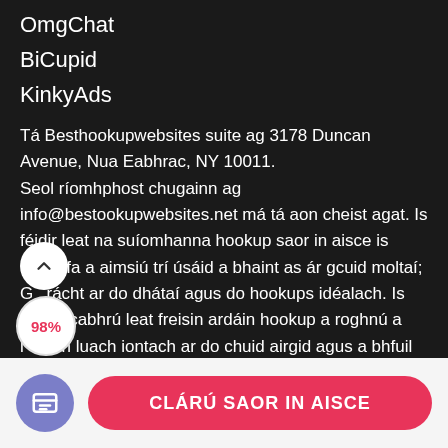OmgChat
BiCupid
KinkyAds
Tá Besthookupwebsites suite ag 3178 Duncan Avenue, Nua Eabhrac, NY 10011. Seol ríomhphost chugainn ag info@bestookupwebsites.net má tá aon cheist agat. Is féidir leat na suíomhanna hookup saor in aisce is iontaofa a aimsiú trí úsáid a bhaint as ár gcuid moltaí; Glúrácht ar do dhátaí agus do hookups idéalach. Is féidir linn cabhrú leat freisin ardáin hookup a roghnú a lgeann luach iontach ar do chuid airgid agus a bhfuil dóchúlacht ard go n-éireoidh leo. Má leanann tú
CLÁRÚ SAOR IN AISCE